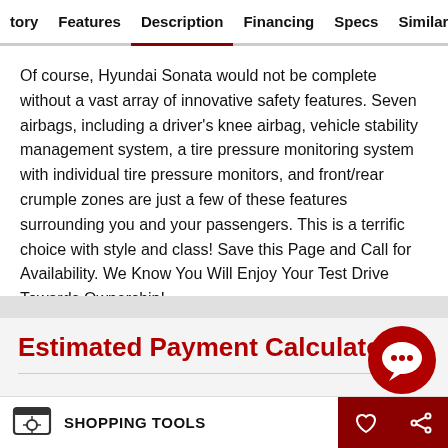tory   Features   Description   Financing   Specs   Similar
Of course, Hyundai Sonata would not be complete without a vast array of innovative safety features. Seven airbags, including a driver's knee airbag, vehicle stability management system, a tire pressure monitoring system with individual tire pressure monitors, and front/rear crumple zones are just a few of these features surrounding you and your passengers. This is a terrific choice with style and class! Save this Page and Call for Availability. We Know You Will Enjoy Your Test Drive Towards Ownership!
Estimated Payment Calculator
Loan Amount   Estimated Payment *
SHOPPING TOOLS